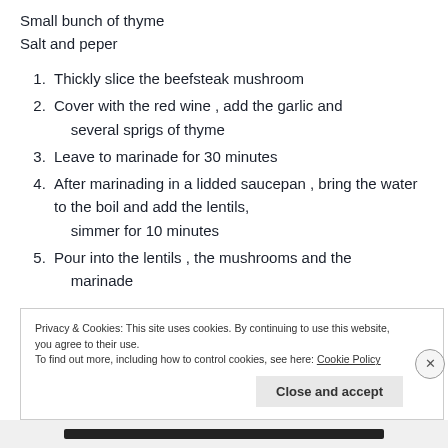Small bunch of thyme
Salt and peper
1. Thickly slice the beefsteak mushroom
2. Cover with the red wine , add the garlic and several sprigs of thyme
3. Leave to marinade for 30 minutes
4. After marinading in a lidded saucepan , bring the water to the boil and add the lentils, simmer for 10 minutes
5. Pour into the lentils , the mushrooms and the marinade
Privacy & Cookies: This site uses cookies. By continuing to use this website, you agree to their use. To find out more, including how to control cookies, see here: Cookie Policy